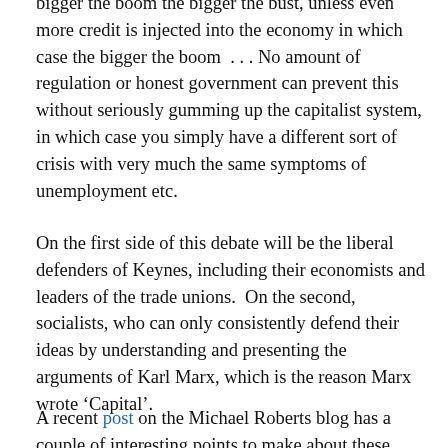bigger the boom the bigger the bust, unless even more credit is injected into the economy in which case the bigger the boom  . . . No amount of regulation or honest government can prevent this without seriously gumming up the capitalist system, in which case you simply have a different sort of crisis with very much the same symptoms of unemployment etc.
On the first side of this debate will be the liberal defenders of Keynes, including their economists and leaders of the trade unions.  On the second, socialists, who can only consistently defend their ideas by understanding and presenting the arguments of Karl Marx, which is the reason Marx wrote ‘Capital’.
A recent post on the Michael Roberts blog has a couple of interesting points to make about these arguments.